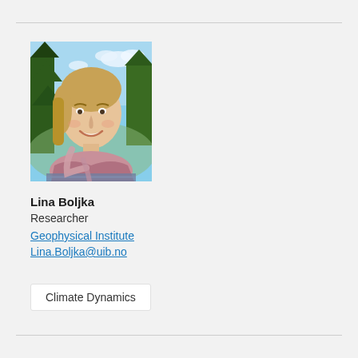[Figure (photo): Portrait photo of Lina Boljka, a woman with blonde hair, smiling, wearing a patterned scarf and striped top, outdoors with trees and blue sky in background.]
Lina Boljka
Researcher
Geophysical Institute
Lina.Boljka@uib.no
Climate Dynamics